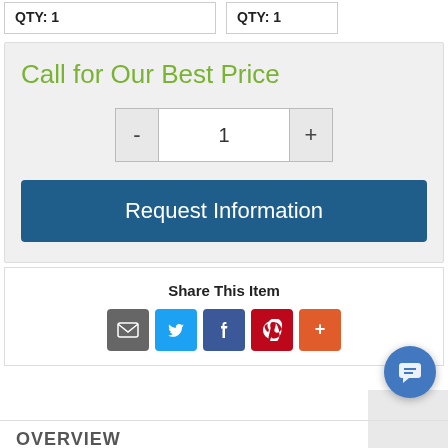QTY: 1
QTY: 1
Call for Our Best Price
- 1 +
Request Information
Share This Item
[Figure (infographic): Social share icons: Email (grey), Twitter (blue), Facebook (dark blue), Pinterest (red), More (orange)]
OVERVIEW